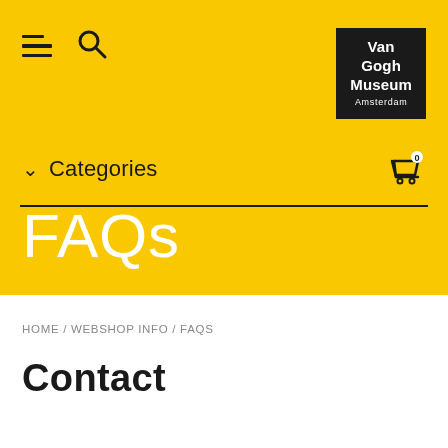[Figure (logo): Van Gogh Museum Amsterdam logo — white text on black background]
Categories
FAQs
HOME / WEBSHOP INFO / FAQS
Contact